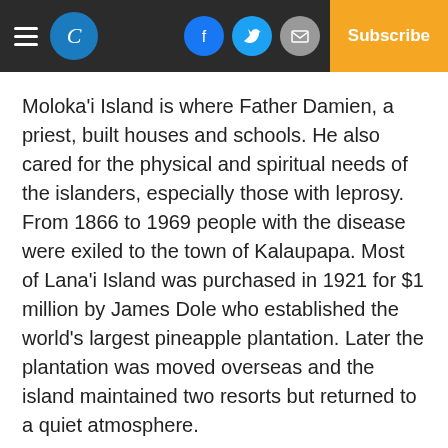Navigation header with logo, social icons (Facebook, Twitter, Email), and Subscribe button
Moloka'i Island is where Father Damien, a priest, built houses and schools. He also cared for the physical and spiritual needs of the islanders, especially those with leprosy. From 1866 to 1969 people with the disease were exiled to the town of Kalaupapa. Most of Lana'i Island was purchased in 1921 for $1 million by James Dole who established the world's largest pineapple plantation. Later the plantation was moved overseas and the island maintained two resorts but returned to a quiet atmosphere.
The Kaua'i Island, known as “The Garden Isle,” is the